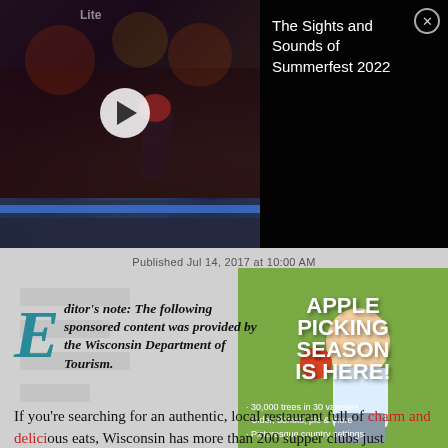[Figure (screenshot): Video thumbnail showing Summerfest 2022 concert scene with crowd and stage lighting, with a play button overlay]
The Sights and Sounds of Summerfest 2022
Published Jul 14, 2017 at 10:00 AM
[Figure (photo): Apple picking advertisement showing a young child holding an apple with text APPLE PICKING SEASON IS HERE!]
Editor's note: The following sponsored content was provided by the Wisconsin Department of Tourism.
If you’re searching for an authentic, local restaurant full of charm and delicious eats, Wisconsin has more than 200 supper clubs just